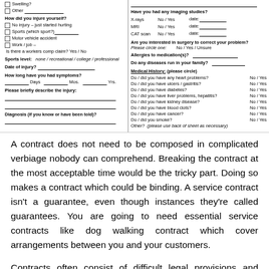Swelling?
Other ___
How did you injure yourself?
No injury – just started hurting
Sports (which sport?)___
Motor vehicle accident
Work / job –
Is there a workers comp claim? Yes / No
Sports level:   none / recreational / college / professional
Date of injury? ___
How long have you had symptoms?
___ Days  ___ Mos.  ___ Yrs.
Please briefly describe the injury:
___
___
Diagnosis (if you know or have been told)?
___
___
Have you had any imaging studies?
X-rays   No / Yes   date:___
MRI   No / Yes   date:___
CAT scan   No / Yes   date:___
Are you interested in surgery to correct your problem?
Please circle one:   No / Yes / Unsure
Allergies to medication(s)?  ___
Do any diseases run in your family?  ___
Medical History: (please circle)
Do / did you have any heart problems?   No / Yes
Do / did you have ulcers / gastritis?   No / Yes
Do / did you have diabetes?   No / Yes
Do / did you have liver problems, hepatitis?   No / Yes
Do / did you have kidney disease?   No / Yes
Do / did you have blood clots?   No / Yes
Do / did you have cancer?   No / Yes
Do / did you smoke?   No / Yes
Other? (please use back of sheet as necessary)
A contract does not need to be composed in complicated verbiage nobody can comprehend. Breaking the contract at the most acceptable time would be the tricky part. Doing so makes a contract which could be binding. A service contract isn't a guarantee, even though instances they're called guarantees. You are going to need essential service contracts like dog walking contract which cover arrangements between you and your customers.
Contracts often consist of difficult legal provisions and solicitors can offer